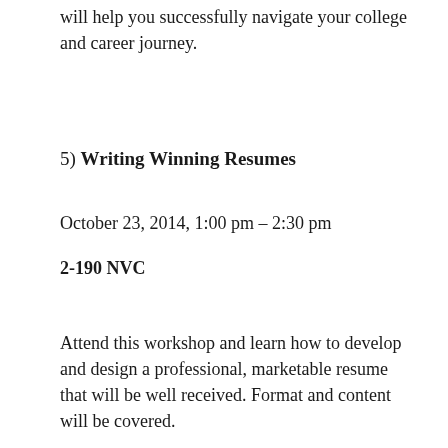will help you successfully navigate your college and career journey.
5) Writing Winning Resumes
October 23, 2014, 1:00 pm – 2:30 pm
2-190 NVC
Attend this workshop and learn how to develop and design a professional, marketable resume that will be well received. Format and content will be covered.